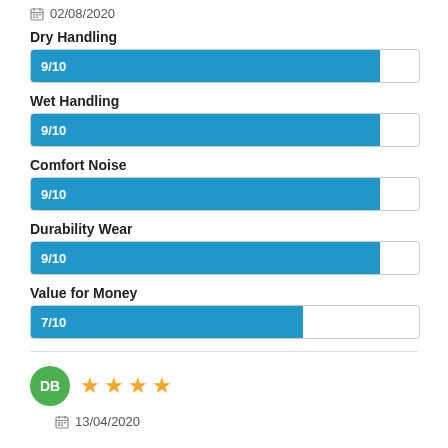02/08/2020
[Figure (bar-chart): Ratings]
DB
4 stars
13/04/2020